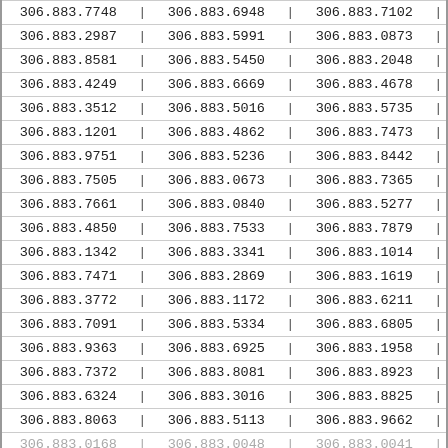| col1 | col2 | col3 |
| --- | --- | --- |
| 306.883.7748 | 306.883.6948 | 306.883.7102 |
| 306.883.2987 | 306.883.5991 | 306.883.0873 |
| 306.883.8581 | 306.883.5450 | 306.883.2048 |
| 306.883.4249 | 306.883.6669 | 306.883.4678 |
| 306.883.3512 | 306.883.5016 | 306.883.5735 |
| 306.883.1201 | 306.883.4862 | 306.883.7473 |
| 306.883.9751 | 306.883.5236 | 306.883.8442 |
| 306.883.7505 | 306.883.0673 | 306.883.7365 |
| 306.883.7661 | 306.883.0840 | 306.883.5277 |
| 306.883.4850 | 306.883.7533 | 306.883.7879 |
| 306.883.1342 | 306.883.3341 | 306.883.1014 |
| 306.883.7471 | 306.883.2869 | 306.883.1619 |
| 306.883.3772 | 306.883.1172 | 306.883.6211 |
| 306.883.7091 | 306.883.5334 | 306.883.6805 |
| 306.883.9363 | 306.883.6925 | 306.883.1958 |
| 306.883.7372 | 306.883.8081 | 306.883.8923 |
| 306.883.6324 | 306.883.3016 | 306.883.8825 |
| 306.883.8063 | 306.883.5113 | 306.883.9662 |
| 306.883.0168 | 306.883.0048 | 306.883.0041 |